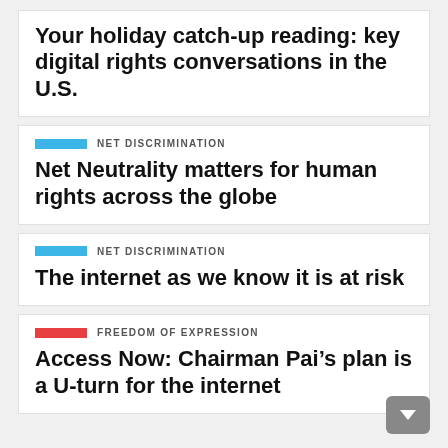Your holiday catch-up reading: key digital rights conversations in the U.S.
NET DISCRIMINATION
Net Neutrality matters for human rights across the globe
NET DISCRIMINATION
The internet as we know it is at risk
FREEDOM OF EXPRESSION
Access Now: Chairman Pai’s plan is a U-turn for the internet